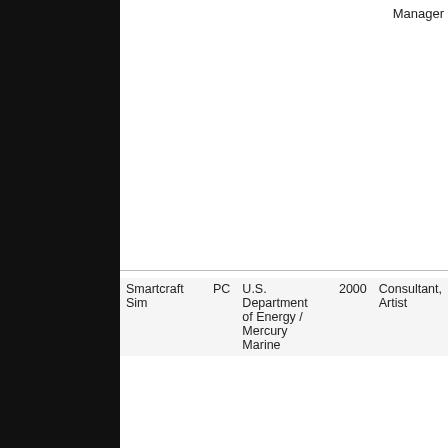Manager
| Smartcraft Sim | PC | U.S. Department of Energy / Mercury Marine | 2000 | Consultant, Artist |